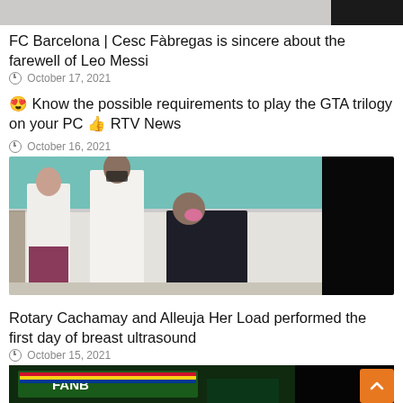[Figure (photo): Top of page showing partial sports/FC Barcelona image with dark right block]
FC Barcelona | Cesc Fàbregas is sincere about the farewell of Leo Messi
October 17, 2021
😍 Know the possible requirements to play the GTA trilogy on your PC 👍 RTV News
October 16, 2021
[Figure (photo): Medical scene with healthcare workers in white coats attending to a patient in a teal-walled room, with black area on right]
Rotary Cachamay and Alleuja Her Load performed the first day of breast ultrasound
October 15, 2021
[Figure (photo): FANB (Venezuelan armed forces) press conference with green banner and dark background]